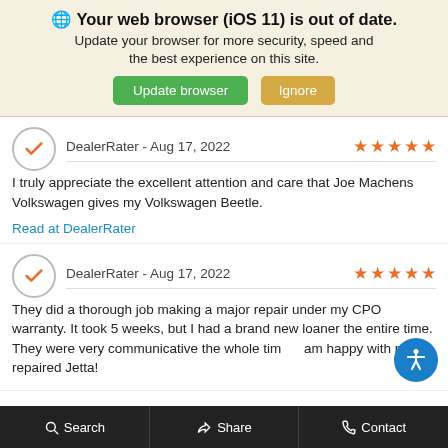🌐 Your web browser (iOS 11) is out of date. Update your browser for more security, speed and the best experience on this site.
Update browser | Ignore
DealerRater - Aug 17, 2022 ★★★★★
I truly appreciate the excellent attention and care that Joe Machens Volkswagen gives my Volkswagen Beetle.
Read at DealerRater
DealerRater - Aug 17, 2022 ★★★★★
They did a thorough job making a major repair under my CPO warranty. It took 5 weeks, but I had a brand new loaner the entire time. They were very communicative the whole time. I am happy with my repaired Jetta!
Search  Share  Contact